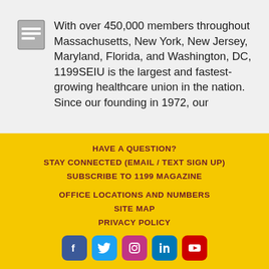With over 450,000 members throughout Massachusetts, New York, New Jersey, Maryland, Florida, and Washington, DC, 1199SEIU is the largest and fastest-growing healthcare union in the nation. Since our founding in 1972, our…
HAVE A QUESTION?
STAY CONNECTED (EMAIL / TEXT SIGN UP)
SUBSCRIBE TO 1199 MAGAZINE
OFFICE LOCATIONS AND NUMBERS
SITE MAP
PRIVACY POLICY
[Figure (infographic): Row of 5 social media icons: Facebook (blue), Twitter (light blue), Instagram (purple/pink), LinkedIn (blue), YouTube (red)]